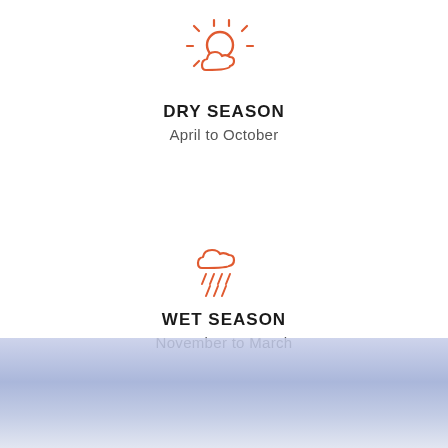[Figure (illustration): Orange outline icon of sun partially behind a cloud (dry season icon)]
DRY SEASON
April to October
[Figure (illustration): Orange outline icon of a rain cloud with rain drops (wet season icon)]
WET SEASON
November to March
[Figure (illustration): Blue-purple gradient band at the bottom of the page]